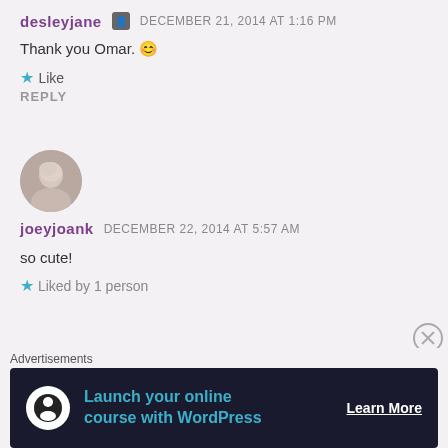desleyjane  DECEMBER 21, 2014 AT 1:16 PM
Thank you Omar. 😊
★ Like
REPLY
[Figure (photo): Round avatar of a person with light gray hair]
joeyjoank  DECEMBER 22, 2014 AT 5:57 AM
so cute!
★ Liked by 1 person
Advertisements
[Figure (infographic): Dark advertisement banner: Launch your online course with WordPress - Learn More]